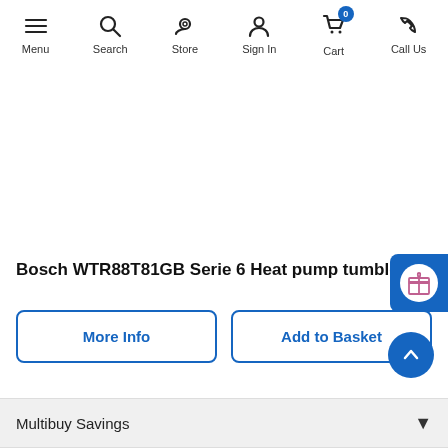Menu | Search | Store | Sign In | Cart (0) | Call Us
[Figure (other): White space / product image area (image not visible)]
Bosch WTR88T81GB Serie 6 Heat pump tumble dryer 8
More Info | Add to Basket
Multibuy Savings